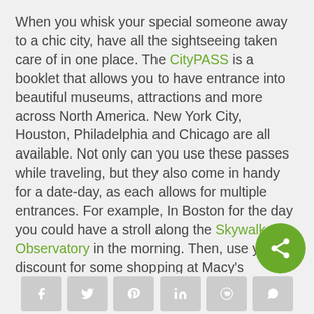When you whisk your special someone away to a chic city, have all the sightseeing taken care of in one place. The CityPASS is a booklet that allows you to have entrance into beautiful museums, attractions and more across North America. New York City, Houston, Philadelphia and Chicago are all available. Not only can you use these passes while traveling, but they also come in handy for a date-day, as each allows for multiple entrances. For example, In Boston for the day you could have a stroll along the Skywalk Observatory in the morning. Then, use your discount for some shopping at Macy's downtown then end the evening with a Boston harbor cruise, all under the same pass.
[Figure (other): Green circular share button with share/network icon]
Social share icons: Facebook, Twitter, Pinterest, LinkedIn, Reddit, WhatsApp